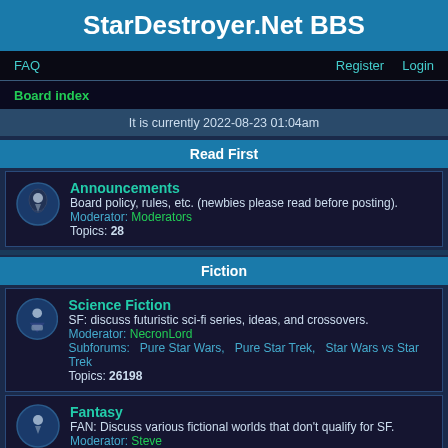StarDestroyer.Net BBS
FAQ   Register   Login
Board index
It is currently 2022-08-23 01:04am
Read First
Announcements
Board policy, rules, etc. (newbies please read before posting).
Moderator: Moderators
Topics: 28
Fiction
Science Fiction
SF: discuss futuristic sci-fi series, ideas, and crossovers.
Moderator: NecronLord
Subforums: Pure Star Wars, Pure Star Trek, Star Wars vs Star Trek
Topics: 26198
Fantasy
FAN: Discuss various fictional worlds that don't qualify for SF.
Moderator: Steve
Topics: 6424
User Fiction
UF: Stories written by users, both fanfics and original.
Moderator: LadyTevar